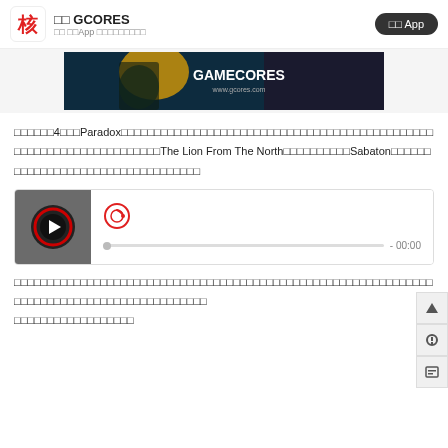核 GCORES 扫码 下载App 体验更多精彩 开启 App
[Figure (screenshot): GAMECORES website banner with dark fantasy art and text 'GAMECORES www.gcores.com']
感动游戏4年后，Paradox的这支新生力量用迷人的历史背景和独特的玩法给我们带来了全新的体验，用The Lion From The North这首曲子配上Sabaton的演唱，让这款游戏在我心中留下了深刻的印象。
[Figure (screenshot): Music player widget showing a NetEase Music (网易云音乐) player with play button and timeline showing -00:00]
不知道有多少人像我一样在玩这款游戏的时候会被这首歌感动到热泪盈眶，这款游戏真的值得一玩。